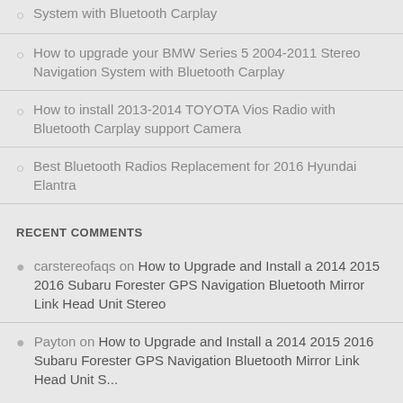How to install BMW Series 5 2013-2016 Stereo Navigation System with Bluetooth Carplay
How to upgrade your BMW Series 5 2004-2011 Stereo Navigation System with Bluetooth Carplay
How to install 2013-2014 TOYOTA Vios Radio with Bluetooth Carplay support Camera
Best Bluetooth Radios Replacement for 2016 Hyundai Elantra
RECENT COMMENTS
carstereofaqs on How to Upgrade and Install a 2014 2015 2016 Subaru Forester GPS Navigation Bluetooth Mirror Link Head Unit Stereo
Payton on How to Upgrade and Install a 2014 2015 2016 Subaru Forester GPS Navigation Bluetooth Mirror Link Head Unit S...